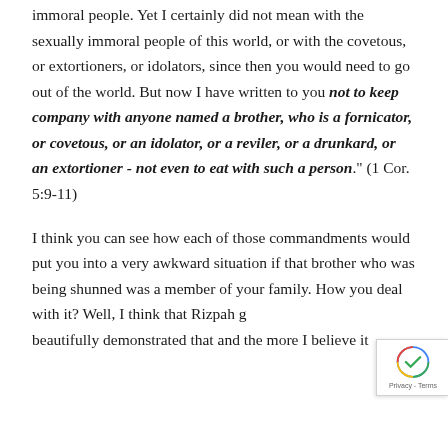immoral people. Yet I certainly did not mean with the sexually immoral people of this world, or with the covetous, or extortioners, or idolators, since then you would need to go out of the world. But now I have written to you not to keep company with anyone named a brother, who is a fornicator, or covetous, or an idolator, or a reviler, or a drunkard, or an extortioner - not even to eat with such a person." (1 Cor. 5:9-11)
I think you can see how each of those commandments would put you into a very awkward situation if that brother who was being shunned was a member of your family. How you deal with it? Well, I think that Rizpah g... beautifully demonstrated that... I believe it is...